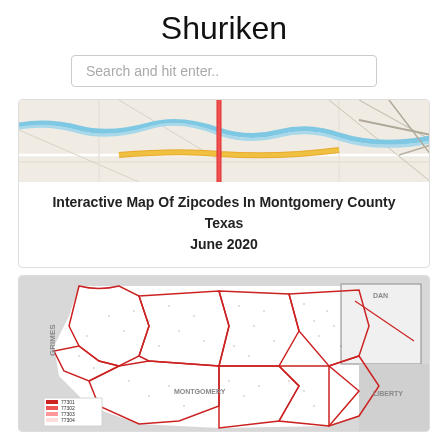Shuriken
Search and hit enter..
[Figure (map): Top portion of a road/street map showing roads, a blue river/waterway, and highway intersections with colored route lines (red, orange, yellow, gray) on a beige background]
Interactive Map Of Zipcodes In Montgomery County Texas June 2020
[Figure (map): Zipcode boundary map of Montgomery County Texas showing red boundary lines for zip code areas on a white/gray background, with surrounding county labels (GRIMES, DAN, LIBERTY, MONTGOMERY), a legend in bottom-left corner, and scattered dot density]